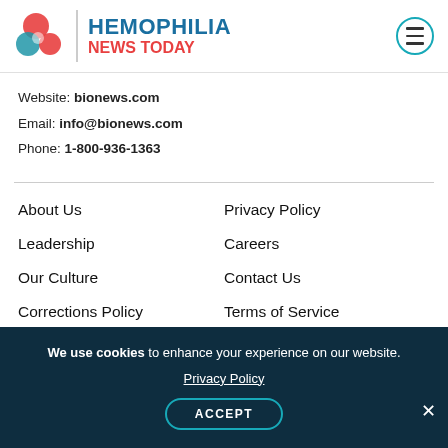[Figure (logo): Hemophilia News Today logo with red and blue circular icon, vertical divider, and site name in blue and red text]
Website: bionews.com
Email: info@bionews.com
Phone: 1-800-936-1363
About Us
Privacy Policy
Leadership
Careers
Our Culture
Contact Us
Corrections Policy
Terms of Service
Advertising Policy
Disable Notifications
We use cookies to enhance your experience on our website. Privacy Policy ACCEPT